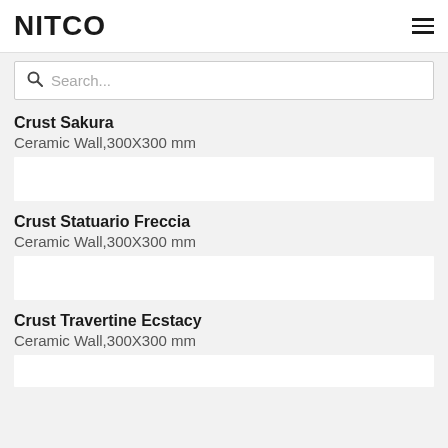NITCO
Search...
Crust Sakura
Ceramic Wall,300X300 mm
[Figure (photo): Product image placeholder for Crust Sakura tile]
Crust Statuario Freccia
Ceramic Wall,300X300 mm
[Figure (photo): Product image placeholder for Crust Statuario Freccia tile]
Crust Travertine Ecstacy
Ceramic Wall,300X300 mm
[Figure (photo): Partial product image placeholder for Crust Travertine Ecstacy tile]